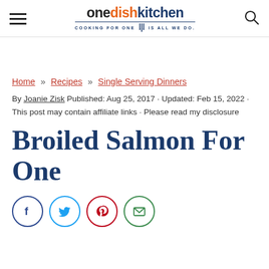one dish kitchen – COOKING FOR ONE IS ALL WE DO.
Home » Recipes » Single Serving Dinners
By Joanie Zisk Published: Aug 25, 2017 · Updated: Feb 15, 2022 · This post may contain affiliate links · Please read my disclosure
Broiled Salmon For One
[Figure (infographic): Social sharing icons: Facebook (dark blue circle), Twitter (light blue circle), Pinterest (red circle), Email (green circle)]